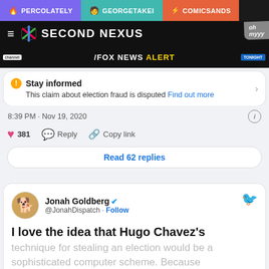PERCOLATELY | GEORGETAKEI | COMICSANDS
SECOND NEXUS
[Figure (screenshot): Fox News Alert banner strip]
Stay informed
This claim about election fraud is disputed Find out more
8:39 PM · Nov 19, 2020
381  Reply  Copy link
Read 62 replies
Jonah Goldberg @JonahDispatch · Follow
I love the idea that Hugo Chavez's technique for stealing an election would be a sophisticated computer scheme. Because